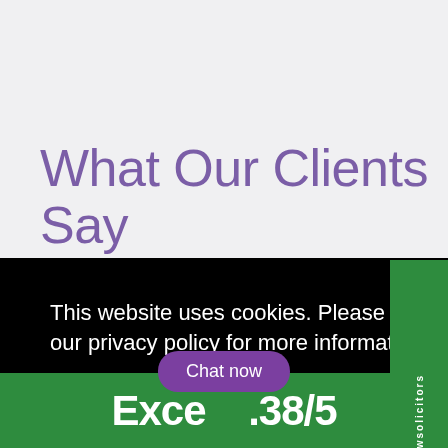What Our Clients Say
This website uses cookies. Please refer to our privacy policy for more information.
View privacy policy
Got it!
from our
reviewsolicitors
Exce .38/5
Chat now